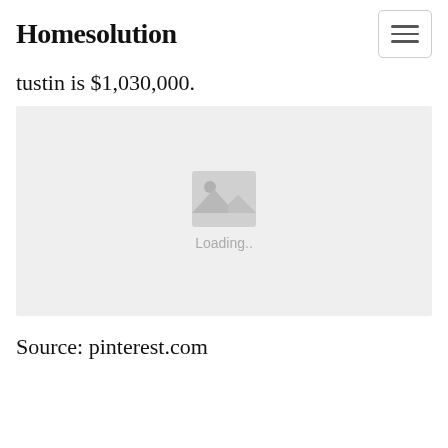Homesolution
tustin is $1,030,000.
[Figure (photo): Image loading placeholder with mountain/image icon and 'Loading..' text on a light grey background]
Source: pinterest.com